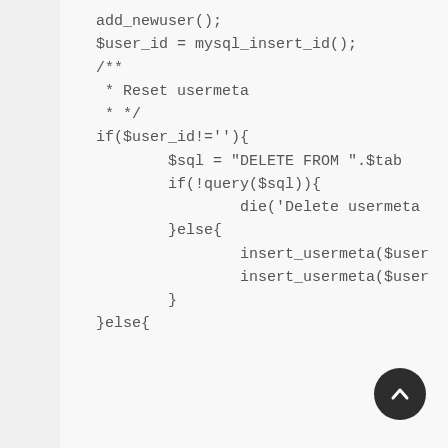add_newuser();
$user_id = mysql_insert_id();
/**
 * Reset usermeta
 * */
if($user_id!=''){
        $sql = "DELETE FROM ".$tab
        if(!query($sql)){
                die('Delete usermeta
        }else{
                insert_usermeta($user
                insert_usermeta($user
        }
}else{